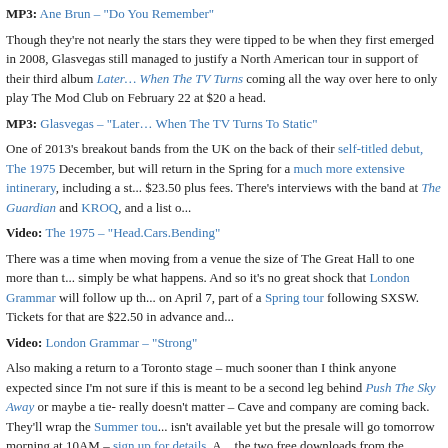MP3: Ane Brun – "Do You Remember"
Though they're not nearly the stars they were tipped to be when they first emerged in 2008, Glasvegas still managed to justify a North American tour in support of their third album Later… When The TV Turns To Static, coming all the way over here to only play The Mod Club on February 22 at $20 a head.
MP3: Glasvegas – "Later… When The TV Turns To Static"
One of 2013's breakout bands from the UK on the back of their self-titled debut, The 1975 toured here last December, but will return in the Spring for a much more extensive intinerary, including a stop at the Mod Club for $23.50 plus fees. There's interviews with the band at The Guardian and KROQ, and a list of...
Video: The 1975 – "Head.Cars.Bending"
There was a time when moving from a venue the size of The Great Hall to one more than twice its size might simply be what happens. And so it's no great shock that London Grammar will follow up their Mod Club show on April 7, part of a Spring tour following SXSW. Tickets for that are $22.50 in advance and...
Video: London Grammar – "Strong"
Also making a return to a Toronto stage – much sooner than I think anyone expected since I'm not sure if this is meant to be a second leg behind Push The Sky Away or maybe a tie- really doesn't matter – Cave and company are coming back. They'll wrap the Summer tour... isn't available yet but the presale will go tomorrow morning at 10AM – sign up for details. A... the two free downloads from the aforementioned KCRW live album they're giving away in...
Video: Nick Cave & The Bad Seeds – "Jubilee Street"
The Line Of Best Fit has details on the debut album from UK psych-rockers Temples, just r... It's called Sun Structures, will be out February 11, and one of the tracks on it will sound like...
Stream: Temples – "Mesmerise"